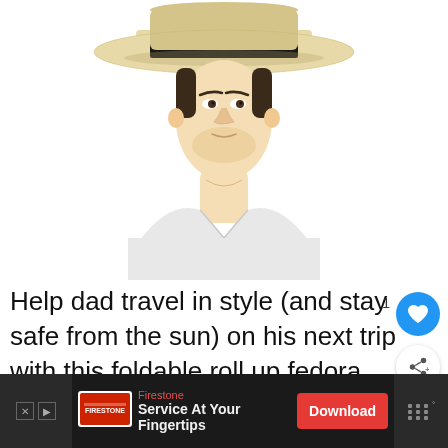[Figure (photo): A young man wearing a beige/straw fedora hat with a black band, dressed in a white V-neck t-shirt, photographed against a white background from the chest up.]
Help dad travel in style (and stay safe from the sun) on his next trip with this foldable roll up fedora hat.
[Figure (infographic): What's Next panel showing Christmas gift guide thumbnail with text '10 Best CHRISTMAS...']
[Figure (infographic): Advertisement banner for Firestone 'Service At Your Fingertips' with a Download button]